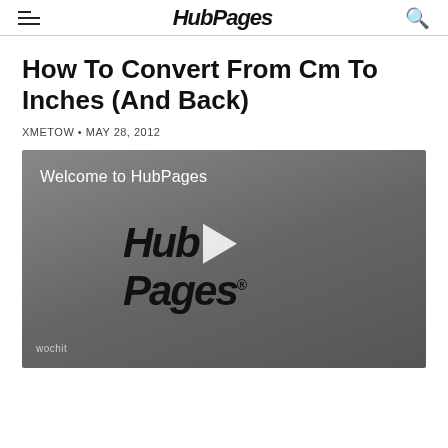HubPages
How To Convert From Cm To Inches (And Back)
XMETOW • MAY 28, 2012
[Figure (screenshot): Video thumbnail for HubPages welcome video. Gray gradient background with 'Welcome to HubPages' text at top left, large HubPages logo with play button overlay in center, and 'wochit' watermark at bottom left.]